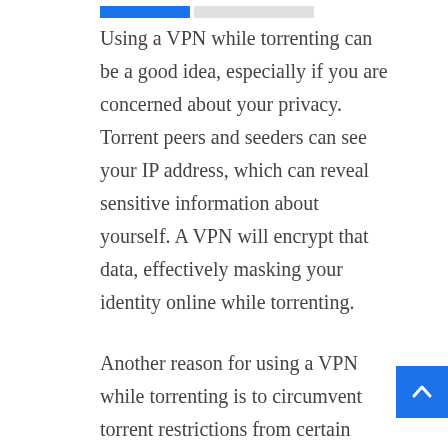Using a VPN while torrenting can be a good idea, especially if you are concerned about your privacy. Torrent peers and seeders can see your IP address, which can reveal sensitive information about yourself. A VPN will encrypt that data, effectively masking your identity online while torrenting.
Another reason for using a VPN while torrenting is to circumvent torrent restrictions from certain ISPs. There are ISPs that limit torrent activities, while some outright forbid users from downloading torrents while using their internet connection. In this article, we will guide you on using a VPN service for torrent downloads and/or uploads. If you are looking for the